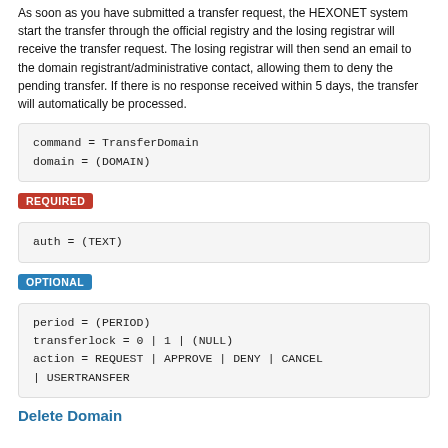As soon as you have submitted a transfer request, the HEXONET system start the transfer through the official registry and the losing registrar will receive the transfer request. The losing registrar will then send an email to the domain registrant/administrative contact, allowing them to deny the pending transfer. If there is no response received within 5 days, the transfer will automatically be processed.
REQUIRED
OPTIONAL
Delete Domain